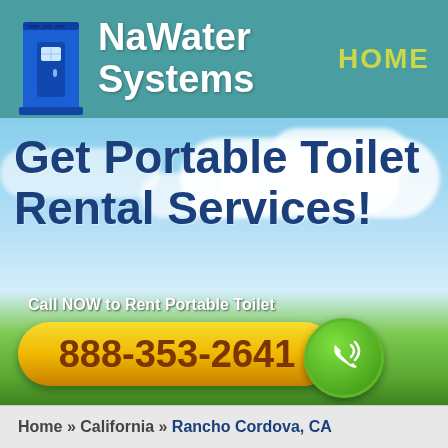[Figure (logo): NaWater Systems logo with portable toilet icon and teal background header bar]
Get Portable Toilet Rental Services!
Call NOW to Rent Portable Toilet
888-353-2641
Home » California » Rancho Cordova, CA